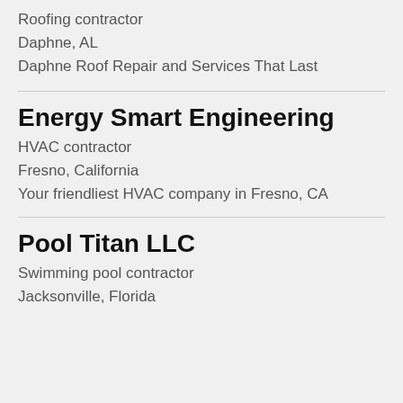Roofing contractor
Daphne, AL
Daphne Roof Repair and Services That Last
Energy Smart Engineering
HVAC contractor
Fresno, California
Your friendliest HVAC company in Fresno, CA
Pool Titan LLC
Swimming pool contractor
Jacksonville, Florida